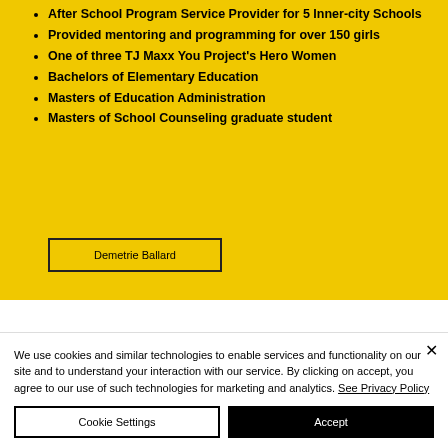After School Program Service Provider for 5 Inner-city Schools
Provided mentoring and programming for over 150 girls
One of three TJ Maxx You Project's Hero Women
Bachelors of Elementary Education
Masters of Education Administration
Masters of School Counseling graduate student
Demetrie Ballard
We use cookies and similar technologies to enable services and functionality on our site and to understand your interaction with our service. By clicking on accept, you agree to our use of such technologies for marketing and analytics. See Privacy Policy